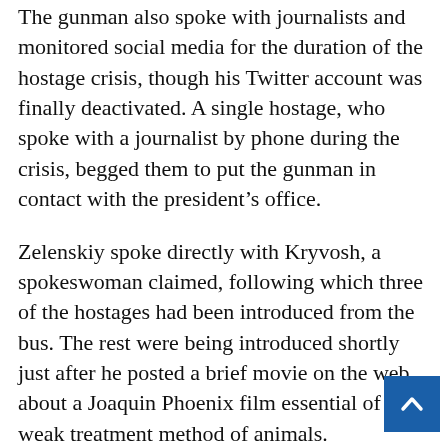The gunman also spoke with journalists and monitored social media for the duration of the hostage crisis, though his Twitter account was finally deactivated. A single hostage, who spoke with a journalist by phone during the crisis, begged them to put the gunman in contact with the president's office.
Zelenskiy spoke directly with Kryvosh, a spokeswoman claimed, following which three of the hostages had been introduced from the bus. The rest were being introduced shortly just after he posted a brief movie on the web about a Joaquin Phoenix film essential of the weak treatment method of animals.
“The film Earthlings from 2005. Absolutely everyone ought to enjoy it,” Zelenskiy stated in the